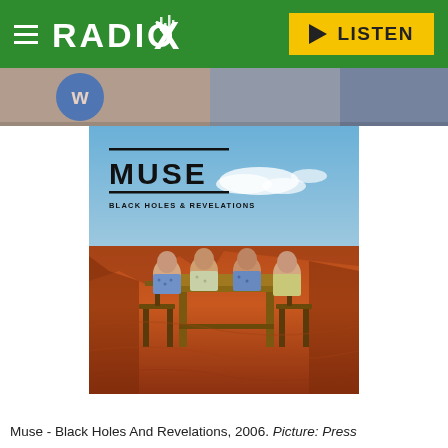RADIO X — LISTEN
[Figure (photo): Banner strip showing partial images from a webpage, including a blue circular icon and other imagery]
[Figure (photo): Muse - Black Holes & Revelations album cover: four bald elderly men sitting at a wooden table in a red desert landscape under a blue sky, with 'MUSE' and 'BLACK HOLES & REVELATIONS' text overlaid at the top left]
Muse - Black Holes And Revelations, 2006. Picture: Press